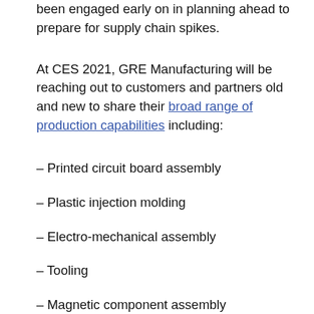been engaged early on in planning ahead to prepare for supply chain spikes.
At CES 2021, GRE Manufacturing will be reaching out to customers and partners old and new to share their broad range of production capabilities including:
– Printed circuit board assembly
– Plastic injection molding
– Electro-mechanical assembly
– Tooling
– Magnetic component assembly
– Full turnkey products GRE has extensive know-how in helping world-class brands take complex products to market including expertise in supply chain and